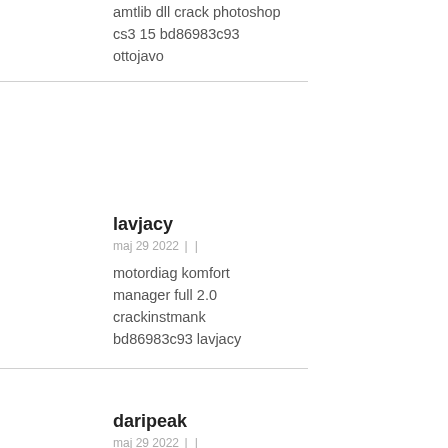amtlib dll crack photoshop cs3 15 bd86983c93 ottojavo
lavjacy
maj 29 2022 | |
motordiag komfort manager full 2.0 crackinstmank bd86983c93 lavjacy
daripeak
maj 29 2022 | |